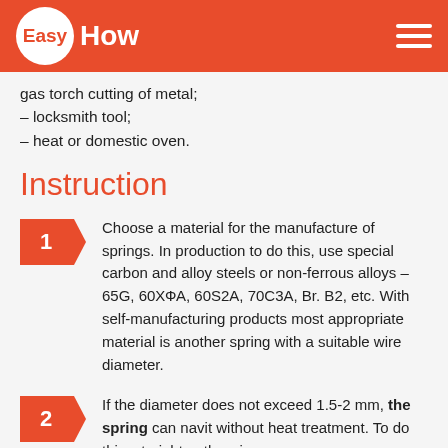EasyHow
gas torch cutting of metal;
– locksmith tool;
– heat or domestic oven.
Instruction
1. Choose a material for the manufacture of springs. In production to do this, use special carbon and alloy steels or non-ferrous alloys – 65G, 60ХФА, 60S2A, 70С3А, Br. B2, etc. With self-manufacturing products most appropriate material is another spring with a suitable wire diameter.
2. If the diameter does not exceed 1.5-2 mm, the spring can navit without heat treatment. To do this, straighten the wire so